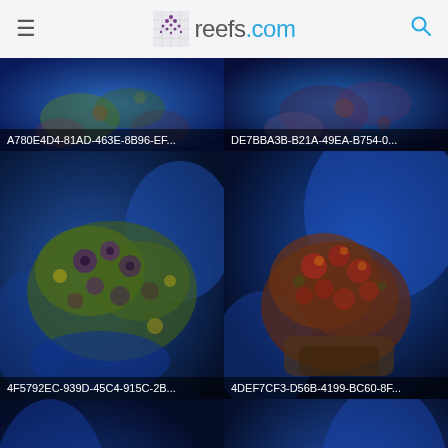reefs.com
[Figure (photo): Partially visible coral photo with label A780E4D4-81AD-463E-8B96-EF...]
[Figure (photo): Partially visible coral photo with label DE7BBA3B-B21A-49EA-B754-0...]
[Figure (photo): Close-up of colorful coral (green/purple/blue tones) with label 4F5792EC-939D-45C4-915C-2B...]
[Figure (photo): Close-up of colorful coral (red/orange/brown tones) with label 4DEF7CF3-D56B-4199-BC60-8F...]
[Figure (photo): Partially visible coral photo (yellow/green tones) – bottom left, cropped]
[Figure (photo): Partially visible coral photo (pink/purple tones) – bottom right, cropped]